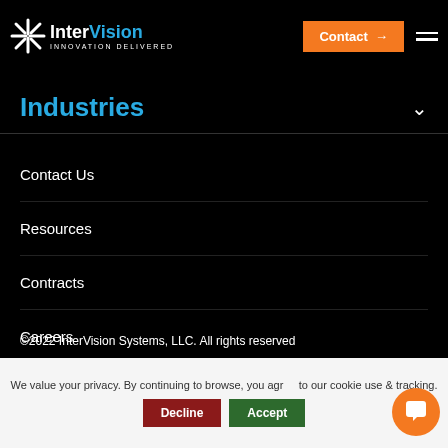[Figure (logo): InterVision logo with starburst icon, white text 'InterVision' with blue 'Vision', tagline 'INNOVATION DELIVERED']
Contact →
Industries
Contact Us
Resources
Contracts
Careers
Privacy Policy
©2022 InterVision Systems, LLC. All rights reserved
We value your privacy. By continuing to browse, you agree to our cookie use & tracking.
Decline
Accept